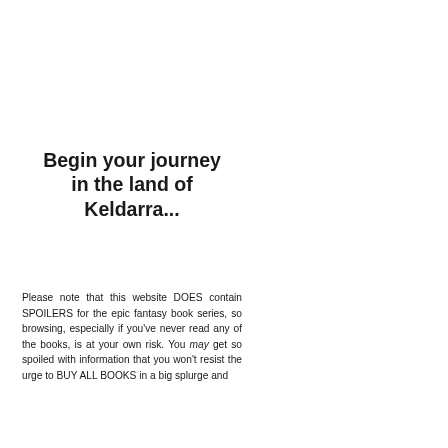Begin your journey in the land of Keldarra...
Please note that this website DOES contain SPOILERS for the epic fantasy book series, so browsing, especially if you've never read any of the books, is at your own risk. You may get so spoiled with information that you won't resist the urge to BUY ALL BOOKS in a big splurge and